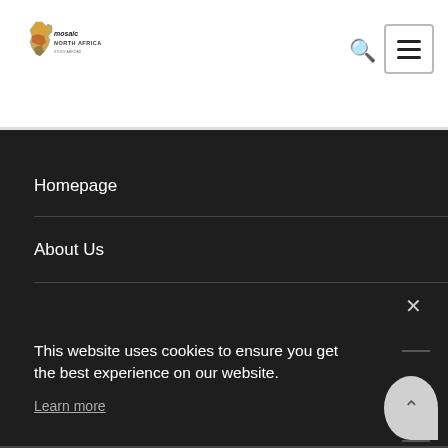[Figure (logo): Mosaic North Africa logo — Africa continent shape with colorful mosaic pattern, text 'mosaic NORTH AFRICA' beside it]
Homepage
About Us
This website uses cookies to ensure you get the best experience on our website.
Learn more
Decline
Accept